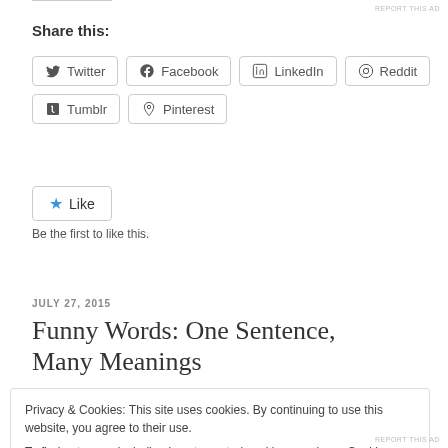REPORT THIS AD
Share this:
Twitter Facebook LinkedIn Reddit Tumblr Pinterest
Like
Be the first to like this.
JULY 27, 2015
Funny Words: One Sentence, Many Meanings
Privacy & Cookies: This site uses cookies. By continuing to use this website, you agree to their use.
To find out more, including how to control cookies, see here: Cookie Policy
Close and accept
REPORT THIS AD